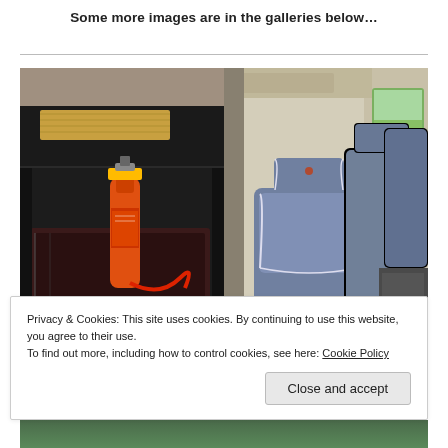Some more images are in the galleries below…
[Figure (photo): Two side-by-side vehicle interior photos: left shows a fire extinguisher and under-seat storage compartment; right shows grey leather van seats interior.]
Privacy & Cookies: This site uses cookies. By continuing to use this website, you agree to their use.
To find out more, including how to control cookies, see here: Cookie Policy
Close and accept